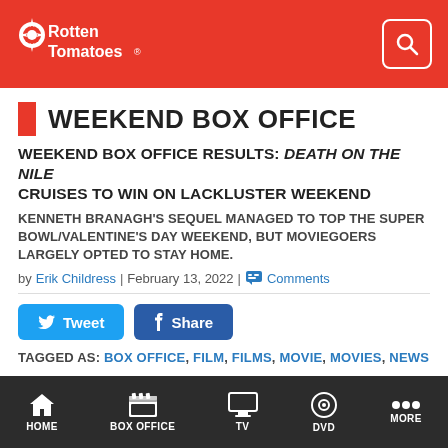Rotten Tomatoes
WEEKEND BOX OFFICE
WEEKEND BOX OFFICE RESULTS: DEATH ON THE NILE CRUISES TO WIN ON LACKLUSTER WEEKEND
KENNETH BRANAGH'S SEQUEL MANAGED TO TOP THE SUPER BOWL/VALENTINE'S DAY WEEKEND, BUT MOVIEGOERS LARGELY OPTED TO STAY HOME.
by Erik Childress | February 13, 2022 | Comments
[Figure (other): Tweet and Share social media buttons]
TAGGED AS: BOX OFFICE, FILM, FILMS, MOVIE, MOVIES, NEWS
HOME | BOX OFFICE | TV | DVD | MORE